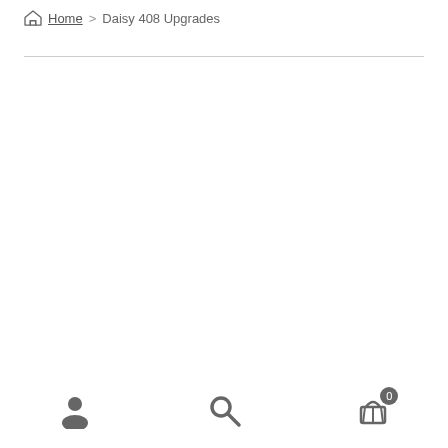Home > Daisy 408 Upgrades
[Figure (other): Empty content area below breadcrumb navigation]
Account icon, Search icon, Cart icon with badge 0